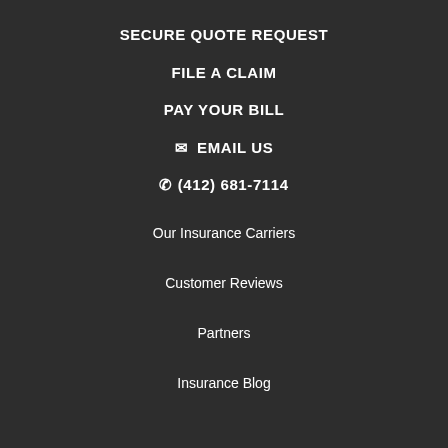SECURE QUOTE REQUEST
FILE A CLAIM
PAY YOUR BILL
✉ EMAIL US
✆ (412) 681-7114
Our Insurance Carriers
Customer Reviews
Partners
Insurance Blog